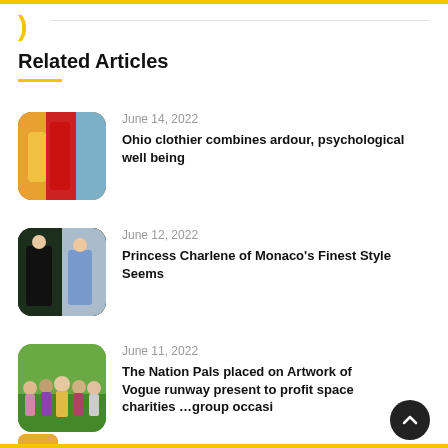)
Related Articles
June 14, 2022
Ohio clothier combines ardour, psychological well being
June 12, 2022
Princess Charlene of Monaco's Finest Style Seems
June 11, 2022
The Nation Pals placed on Artwork of Vogue runway present to profit space charities …group occasi
(partial fourth article visible)